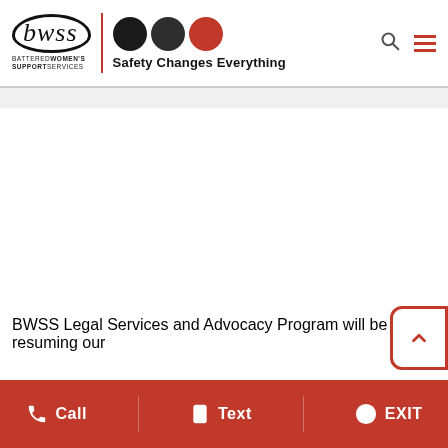bwss BATTERED WOMEN'S SUPPORT SERVICES | Safety Changes Everything
BWSS Legal Services and Advocacy Program will be resuming our
[Figure (infographic): Bottom action bar with Call, Text, and EXIT buttons on red background]